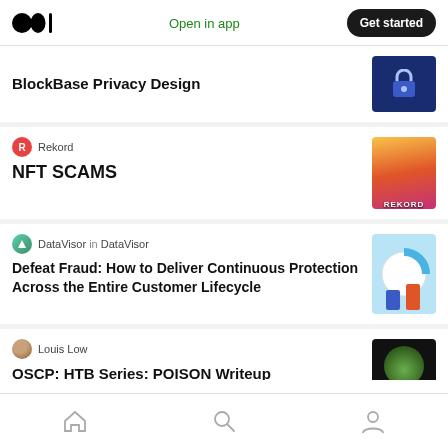Open in app   Get started
BlockBase Privacy Design
Rekord
NFT SCAMS
DataVisor in DataVisor
Defeat Fraud: How to Deliver Continuous Protection Across the Entire Customer Lifecycle
Louis Low
OSCP: HTB Series: POISON Writeup